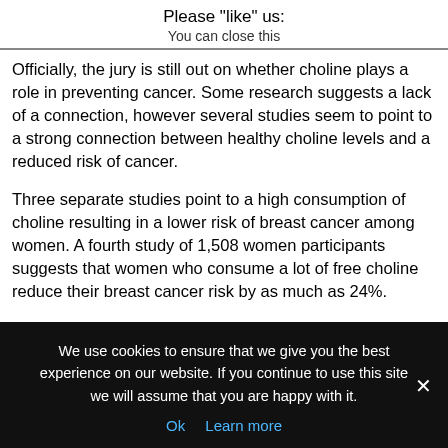Please "like" us:
You can close this
Officially, the jury is still out on whether choline plays a role in preventing cancer. Some research suggests a lack of a connection, however several studies seem to point to a strong connection between healthy choline levels and a reduced risk of cancer.
Three separate studies point to a high consumption of choline resulting in a lower risk of breast cancer among women. A fourth study of 1,508 women participants suggests that women who consume a lot of free choline reduce their breast cancer risk by as much as 24%.
Early research from animal studies points to choline deficiencies being associated with a higher risk of liver cancer and sensitivity to environmental toxins, though we can't be certain there are similar
We use cookies to ensure that we give you the best experience on our website. If you continue to use this site we will assume that you are happy with it.
Ok   Learn more